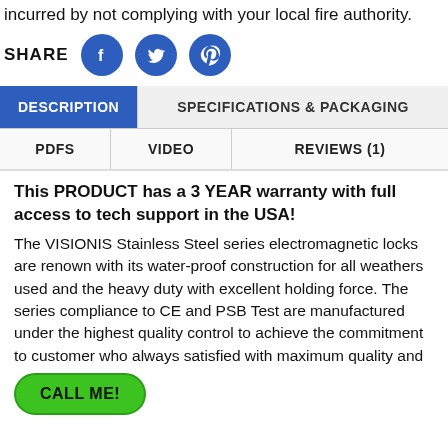incurred by not complying with your local fire authority.
SHARE
[Figure (infographic): Social share buttons: Facebook, Twitter, Pinterest (blue circles with white icons)]
DESCRIPTION | SPECIFICATIONS & PACKAGING
PDFS | VIDEO | REVIEWS (1)
This PRODUCT has a 3 YEAR warranty with full access to tech support in the USA!
The VISIONIS Stainless Steel series electromagnetic locks are renown with its water-proof construction for all weathers used and the heavy duty with excellent holding force. The series compliance to CE and PSB Test are manufactured under the highest quality control to achieve the commitment to customer who always satisfied with maximum quality and
[Figure (infographic): Green CALL ME! button (rounded pill shape)]